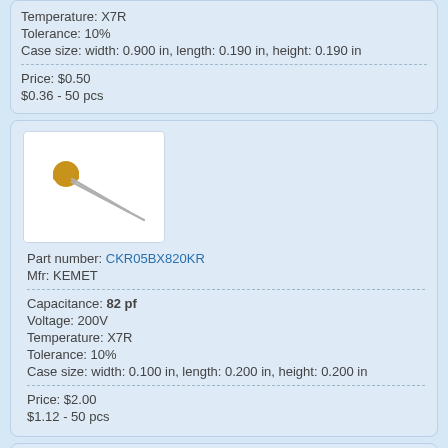Temperature: X7R
Tolerance: 10%
Case size: width: 0.900 in, length: 0.190 in, height: 0.190 in
Price: $0.50
$0.36 - 50 pcs
[Figure (photo): Ceramic capacitor with two leads on white background]
Part number: CKR05BX820KR
Mfr: KEMET
Capacitance: 82 pf
Voltage: 200V
Temperature: X7R
Tolerance: 10%
Case size: width: 0.100 in, length: 0.200 in, height: 0.200 in
Price: $2.00
$1.12 - 50 pcs